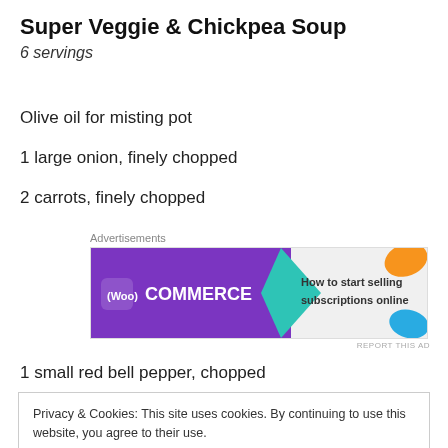Super Veggie & Chickpea Soup
6 servings
Olive oil for misting pot
1 large onion, finely chopped
2 carrots, finely chopped
[Figure (screenshot): WooCommerce advertisement banner: 'How to start selling subscriptions online']
1 small red bell pepper, chopped
Privacy & Cookies: This site uses cookies. By continuing to use this website, you agree to their use.
To find out more, including how to control cookies, see here: Cookie Policy